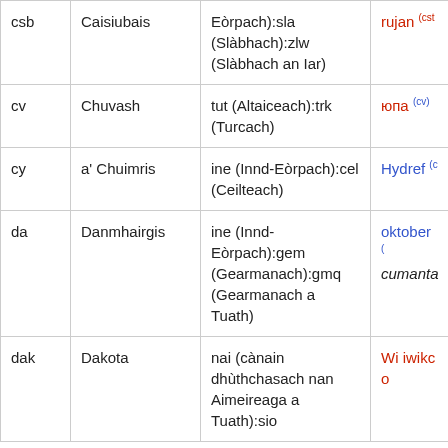| csb | Caisiubais | Eòrpach):sla (Slàbhach):zlw (Slàbhach an Iar) | rujan (cst |
| cv | Chuvash | tut (Altaiceach):trk (Turcach) | юпа (cv) |
| cy | a' Chuimris | ine (Innd-Eòrpach):cel (Ceilteach) | Hydref (c |
| da | Danmhairgis | ine (Innd-Eòrpach):gem (Gearmanach):gmq (Gearmanach a Tuath) | oktober ( cumanta |
| dak | Dakota | nai (cànain dhùthchasach nan Aimeireaga a Tuath):sio | Wi iwikco |